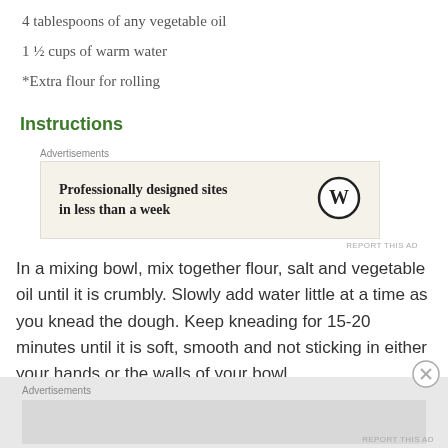4 tablespoons of any vegetable oil
1 ½ cups of warm water
*Extra flour for rolling
Instructions
[Figure (other): Advertisement banner: 'Professionally designed sites in less than a week' with WordPress logo]
In a mixing bowl, mix together flour, salt and vegetable oil until it is crumbly. Slowly add water little at a time as you knead the dough. Keep kneading for 15-20 minutes until it is soft, smooth and not sticking in either your hands or the walls of your bowl
[Figure (other): Bottom advertisements bar area]